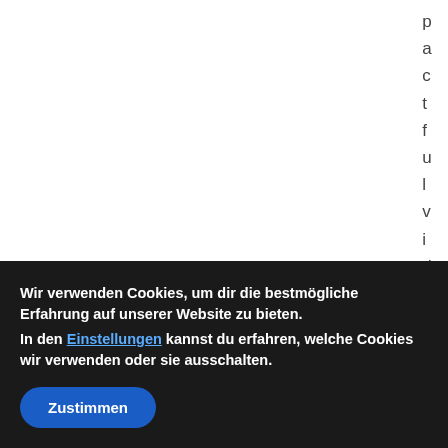p a c t f u l v i d e o c
Wir verwenden Cookies, um dir die bestmögliche Erfahrung auf unserer Website zu bieten.
In den Einstellungen kannst du erfahren, welche Cookies wir verwenden oder sie ausschalten.
Zustimmen